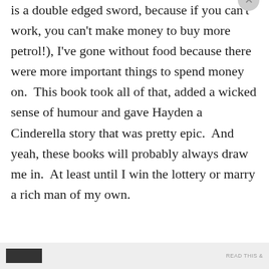is a double edged sword, because if you can't work, you can't make money to buy more petrol!), I've gone without food because there were more important things to spend money on.  This book took all of that, added a wicked sense of humour and gave Hayden a Cinderella story that was pretty epic.  And yeah, these books will probably always draw me in.  At least until I win the lottery or marry a rich man of my own.
Privacy & Cookies: This site uses cookies. By continuing to use this website, you agree to their use.
To find out more, including how to control cookies, see here: Cookie Policy
Close and accept